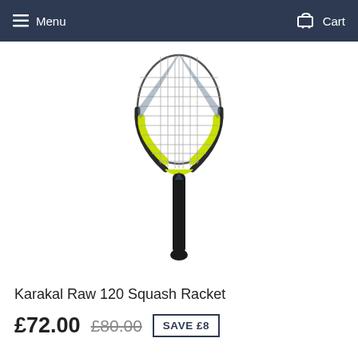Menu   Cart
[Figure (photo): Karakal Raw 120 squash racket with black frame, yellow accent markings, and string bed, shown vertically against a white background]
Karakal Raw 120 Squash Racket
£72.00  £80.00  SAVE £8